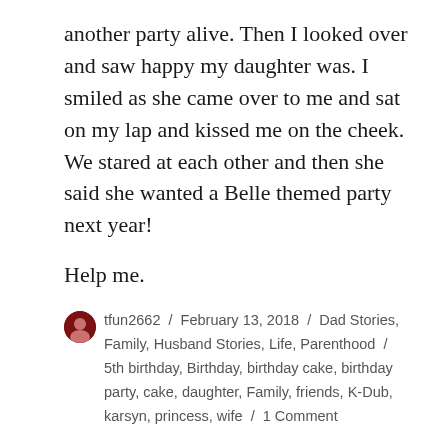another party alive. Then I looked over and saw happy my daughter was. I smiled as she came over to me and sat on my lap and kissed me on the cheek. We stared at each other and then she said she wanted a Belle themed party next year!
Help me.
tfun2662 / February 13, 2018 / Dad Stories, Family, Husband Stories, Life, Parenthood / 5th birthday, Birthday, birthday cake, birthday party, cake, daughter, Family, friends, K-Dub, karsyn, princess, wife / 1 Comment
Back At It